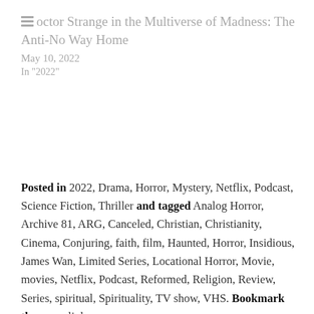Doctor Strange in the Multiverse of Madness: The Anti-No Way Home
May 10, 2022
In "2022"
Posted in 2022, Drama, Horror, Mystery, Netflix, Podcast, Science Fiction, Thriller and tagged Analog Horror, Archive 81, ARG, Canceled, Christian, Christianity, Cinema, Conjuring, faith, film, Haunted, Horror, Insidious, James Wan, Limited Series, Locational Horror, Movie, movies, Netflix, Podcast, Reformed, Religion, Review, Series, spiritual, Spirituality, TV show, VHS. Bookmark the permalink.